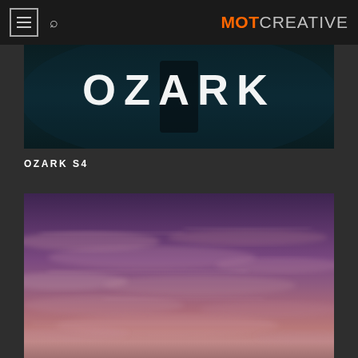MOTCREATIVE
[Figure (photo): Ozark S4 title card — dark teal/blue background with large white text 'OZARK' visible, silhouette figure in center]
OZARK S4
[Figure (photo): Purple and mauve sunset sky with wispy clouds, gradient from deep purple at top to lighter pink/mauve tones]